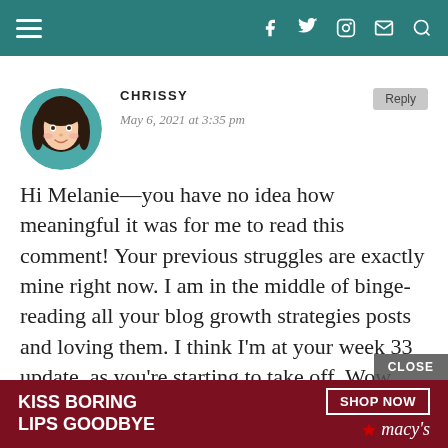≡  f  𝕏  ⊙  ✉  🔍
CHRISSY
May 6, 2021 at 3:35 pm
Hi Melanie—you have no idea how meaningful it was for me to read this comment! Your previous struggles are exactly mine right now. I am in the middle of binge-reading all your blog growth strategies posts and loving them. I think I'm at your week 33 update, as you're starting to take off. Wow,
[Figure (illustration): Circular avatar of animated cartoon woman with dark hair and teal colors]
CLOSE
[Figure (infographic): Macy's advertisement banner: KISS BORING LIPS GOODBYE with SHOP NOW button and Macy's star logo]